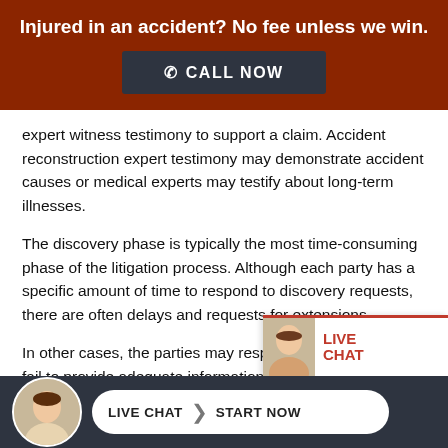Injured in an accident? No fee unless we win.
CALL NOW
expert witness testimony to support a claim. Accident reconstruction expert testimony may demonstrate accident causes or medical experts may testify about long-term illnesses.
The discovery phase is typically the most time-consuming phase of the litigation process. Although each party has a specific amount of time to respond to discovery requests, there are often delays and requests for extensions.
In other cases, the parties may respond promptly, but fail to provide adequate information, which requires additional rounds...
LIVE CHAT  START NOW